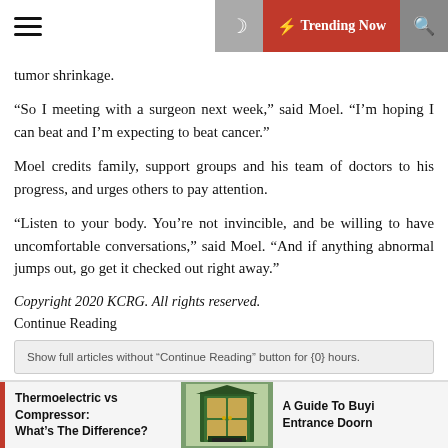☰ [moon] ⚡ Trending Now [search]
tumor shrinkage.
“So I meeting with a surgeon next week,” said Moel. “I’m hoping I can beat and I’m expecting to beat cancer.”
Moel credits family, support groups and his team of doctors to his progress, and urges others to pay attention.
“Listen to your body. You’re not invincible, and be willing to have uncomfortable conversations,” said Moel. “And if anything abnormal jumps out, go get it checked out right away.”
Copyright 2020 KCRG. All rights reserved.
Continue Reading
Show full articles without “Continue Reading” button for {0} hours.
Thermoelectric vs Compressor: What’s The Difference?
[Figure (illustration): Decorative image of an entrance door]
A Guide To Buyi Entrance Doorn